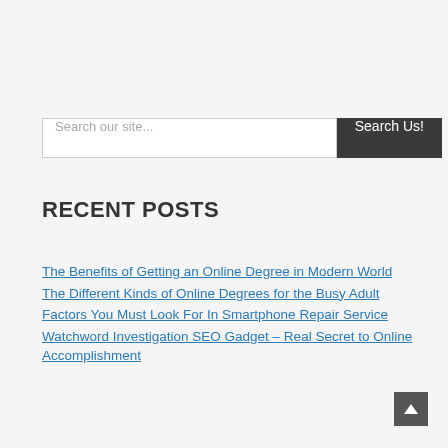Search our site...
RECENT POSTS
The Benefits of Getting an Online Degree in Modern World
The Different Kinds of Online Degrees for the Busy Adult
Factors You Must Look For In Smartphone Repair Service
Watchword Investigation SEO Gadget – Real Secret to Online Accomplishment